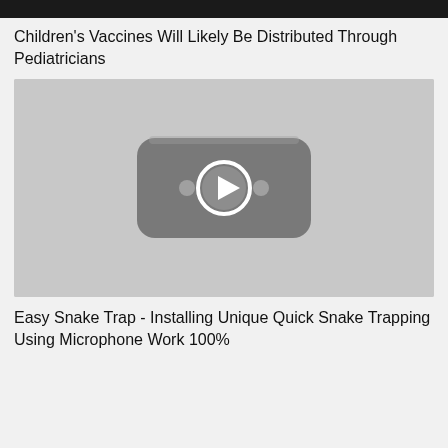[Figure (screenshot): Dark top navigation bar]
Children's Vaccines Will Likely Be Distributed Through Pediatricians
[Figure (other): Video thumbnail placeholder with play button icon on grey background]
Easy Snake Trap - Installing Unique Quick Snake Trapping Using Microphone Work 100%